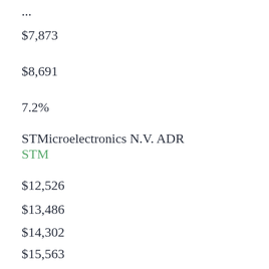$7,873
$8,691
7.2%
STMicroelectronics N.V. ADR
STM
$12,526
$13,486
$14,302
$15,563
$16,360
6.9%